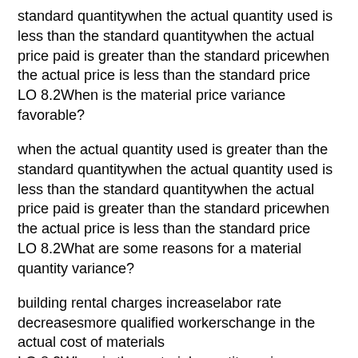standard quantitywhen the actual quantity used is less than the standard quantitywhen the actual price paid is greater than the standard pricewhen the actual price is less than the standard price LO 8.2When is the material price variance favorable?
when the actual quantity used is greater than the standard quantitywhen the actual quantity used is less than the standard quantitywhen the actual price paid is greater than the standard pricewhen the actual price is less than the standard price LO 8.2What are some reasons for a material quantity variance?
building rental charges increaselabor rate decreasesmore qualified workerschange in the actual cost of materials LO 8.2When is the material quantity variance favorable?